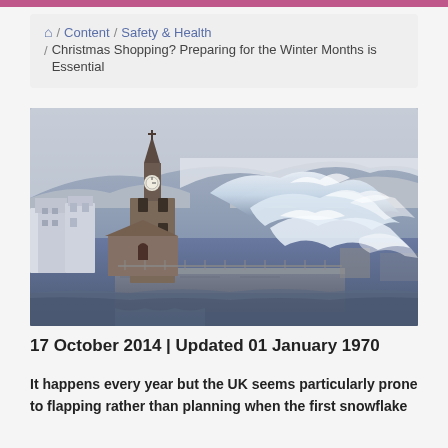🏠 / Content / Safety & Health / Christmas Shopping? Preparing for the Winter Months is Essential
[Figure (photo): A dramatic coastal winter storm scene showing large waves crashing against a stone harbour wall and a church/clock tower building in a coastal town, with snow-covered hills in the background. The scene is stormy and wintry.]
17 October 2014 | Updated 01 January 1970
It happens every year but the UK seems particularly prone to flapping rather than planning when the first snowflake